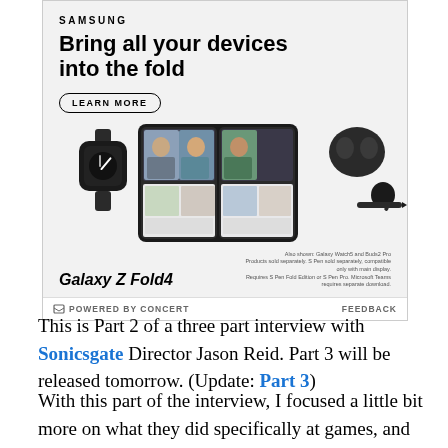[Figure (illustration): Samsung advertisement for Galaxy Z Fold4. Shows 'SAMSUNG' logo, headline 'Bring all your devices into the fold', a 'LEARN MORE' button, images of Samsung Galaxy devices including a watch, foldable phone, earbuds, and stylus. Bottom shows 'Galaxy Z Fold4' text with disclaimer. Footer shows 'POWERED BY CONCERT' and 'FEEDBACK'.]
This is Part 2 of a three part interview with Sonicsgate Director Jason Reid. Part 3 will be released tomorrow. (Update: Part 3)
With this part of the interview, I focused a little bit more on what they did specifically at games, and their attitude towards Thunder fans and the Thunder in general. Most importantly, I asked him why the